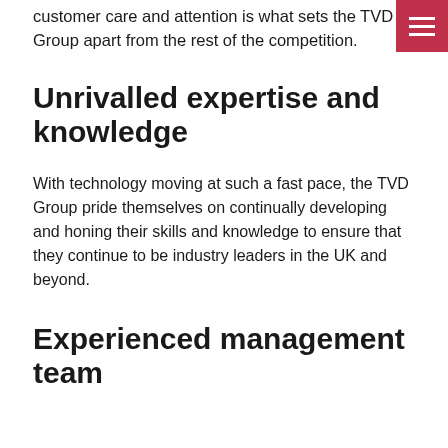customer care and attention is what sets the TVD Group apart from the rest of the competition.
[Figure (other): Hamburger menu button icon, dark red/crimson background with three white horizontal lines]
Unrivalled expertise and knowledge
With technology moving at such a fast pace, the TVD Group pride themselves on continually developing and honing their skills and knowledge to ensure that they continue to be industry leaders in the UK and beyond.
Experienced management team